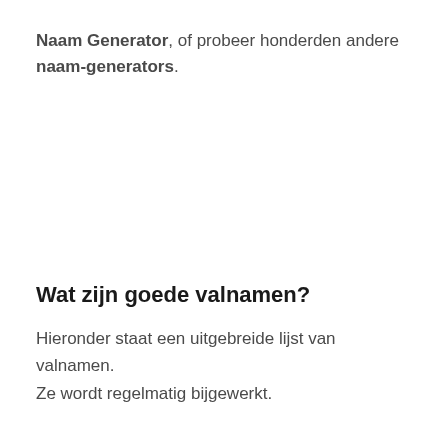Naam Generator, of probeer honderden andere naam-generators.
Wat zijn goede valnamen?
Hieronder staat een uitgebreide lijst van valnamen. Ze wordt regelmatig bijgewerkt.